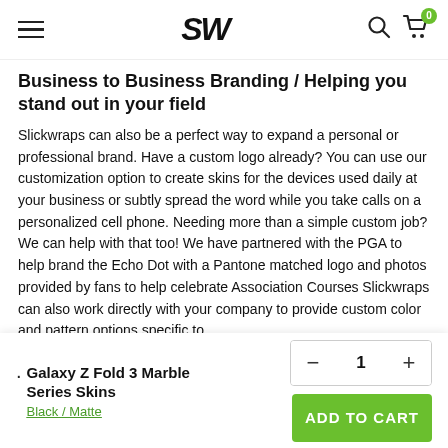SW
Business to Business Branding / Helping you stand out in your field
Slickwraps can also be a perfect way to expand a personal or professional brand. Have a custom logo already? You can use our customization option to create skins for the devices used daily at your business or subtly spread the word while you take calls on a personalized cell phone. Needing more than a simple custom job? We can help with that too! We have partnered with the PGA to help brand the Echo Dot with a Pantone matched logo and photos provided by fans to help celebrate Association Courses. Slickwraps can also work directly with your company to provide custom color and pattern options specific to
Galaxy Z Fold 3 Marble Series Skins
Black / Matte